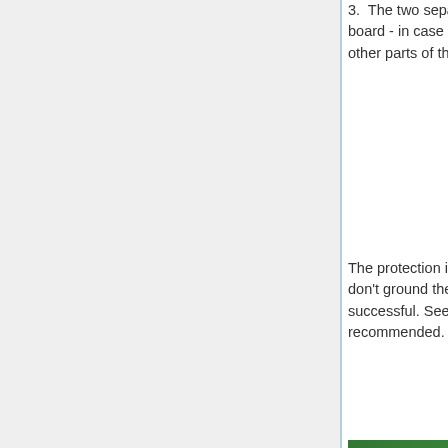3. The two separate arrows show the ESD protection chips on the board - in case there was no shielded cable, to protect the CPU and other parts of the board.
The protection is not too effective if you only use shielded cable, and don't ground the board itself. You need to do both things to be successful. See below for possible methods, option 1 is recommended.
[Figure (photo): Close-up photo of a green circuit board (PCB) showing components including a large white circular component, SMD components, capacitors, and a USB or similar port connector in the lower right.]